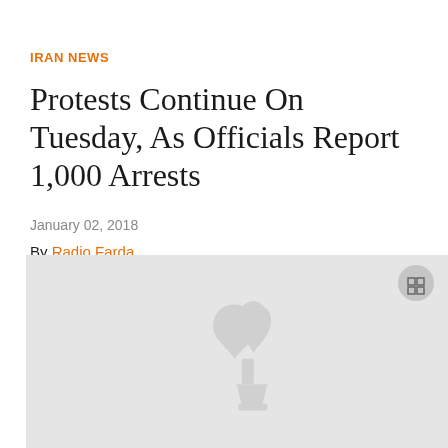IRAN NEWS
Protests Continue On Tuesday, As Officials Report 1,000 Arrests
January 02, 2018
By Radio Farda
[Figure (photo): Gray placeholder image with a faint Radio Farda logo watermark in the center and an expand icon button in the top right corner]